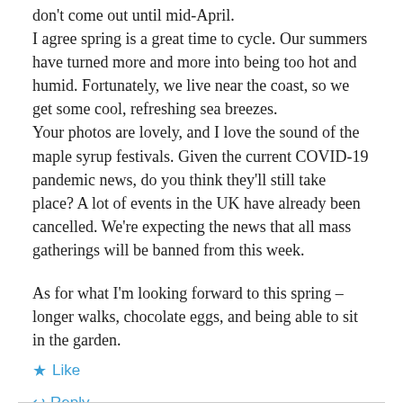don't come out until mid-April.
I agree spring is a great time to cycle. Our summers have turned more and more into being too hot and humid. Fortunately, we live near the coast, so we get some cool, refreshing sea breezes.
Your photos are lovely, and I love the sound of the maple syrup festivals. Given the current COVID-19 pandemic news, do you think they'll still take place? A lot of events in the UK have already been cancelled. We're expecting the news that all mass gatherings will be banned from this week.
As for what I'm looking forward to this spring – longer walks, chocolate eggs, and being able to sit in the garden.
★ Like
↩ Reply